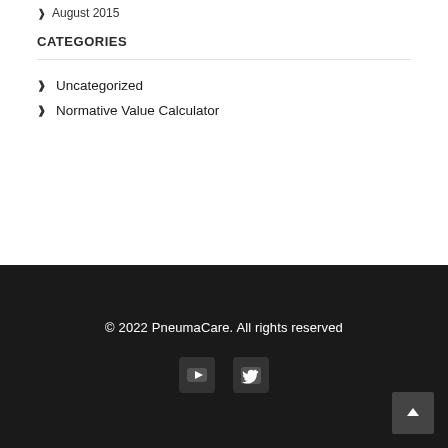August 2015
CATEGORIES
Uncategorized
Normative Value Calculator
© 2022 PneumaCare. All rights reserved